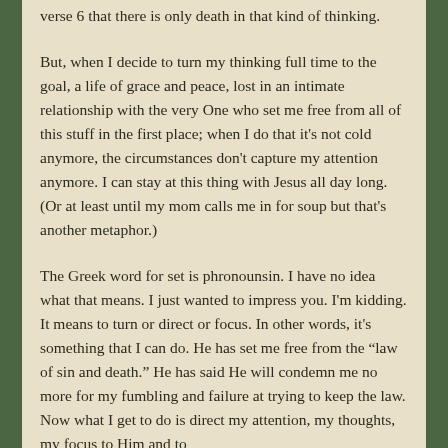verse 6 that there is only death in that kind of thinking.
But, when I decide to turn my thinking full time to the goal, a life of grace and peace, lost in an intimate relationship with the very One who set me free from all of this stuff in the first place; when I do that it's not cold anymore, the circumstances don't capture my attention anymore. I can stay at this thing with Jesus all day long. (Or at least until my mom calls me in for soup but that's another metaphor.)
The Greek word for set is phronounsin. I have no idea what that means. I just wanted to impress you. I'm kidding. It means to turn or direct or focus. In other words, it's something that I can do. He has set me free from the "law of sin and death." He has said He will condemn me no more for my fumbling and failure at trying to keep the law. Now what I get to do is direct my attention, my thoughts, my focus to Him and to